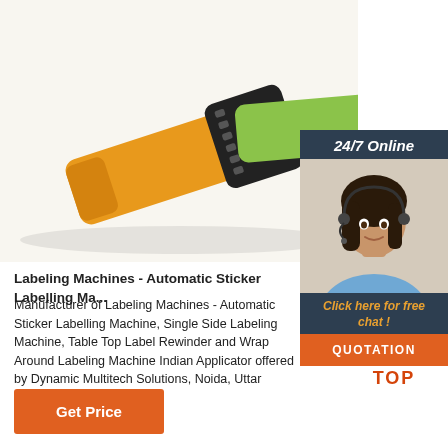[Figure (photo): Product photo showing orange and green wristbands/fitness tracker bands on a white background]
[Figure (illustration): Chat widget with '24/7 Online' header, female customer service agent photo wearing headset, 'Click here for free chat!' text in orange, and orange QUOTATION button]
Labeling Machines - Automatic Sticker Labelling Ma...
Manufacturer of Labeling Machines - Automatic Sticker Labelling Machine, Single Side Labeling Machine, Table Top Label Rewinder and Wrap Around Labeling Machine Indian Applicator offered by Dynamic Multitech Solutions, Noida, Uttar Pradesh.
[Figure (logo): TOP button logo with orange dots arranged in triangle/arch above the word TOP in orange]
Get Price